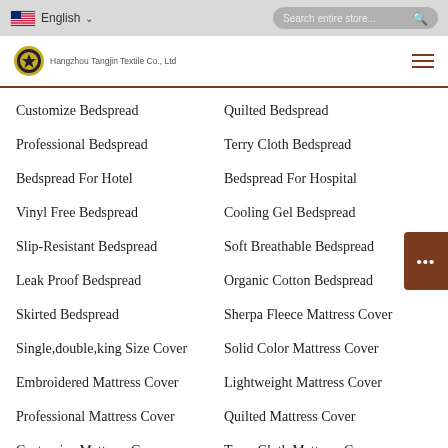English | Search entire store...
[Figure (logo): Hangzhou Tangjin Textile Co., Ltd logo with circular gold and black emblem]
Customize Bedspread
Quilted Bedspread
Professional Bedspread
Terry Cloth Bedspread
Bedspread For Hotel
Bedspread For Hospital
Vinyl Free Bedspread
Cooling Gel Bedspread
Slip-Resistant Bedspread
Soft Breathable Bedspread
Leak Proof Bedspread
Organic Cotton Bedspread
Skirted Bedspread
Sherpa Fleece Mattress Cover
Single,double,king Size Cover
Solid Color Mattress Cover
Embroidered Mattress Cover
Lightweight Mattress Cover
Professional Mattress Cover
Quilted Mattress Cover
Customize Mattress Cover
Terry Cloth Mattress Cover